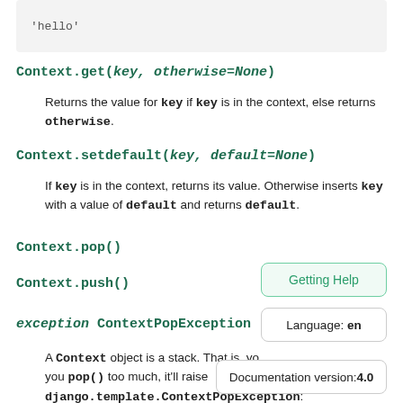[Figure (screenshot): Code block showing: 'hello']
Context.get(key, otherwise=None)
Returns the value for key if key is in the context, else returns otherwise.
Context.setdefault(key, default=None)
If key is in the context, returns its value. Otherwise inserts key with a value of default and returns default.
Context.pop()
Context.push()
exception ContextPopException
A Context object is a stack. That is, you pop() too much, it'll raise django.template.ContextPopException: